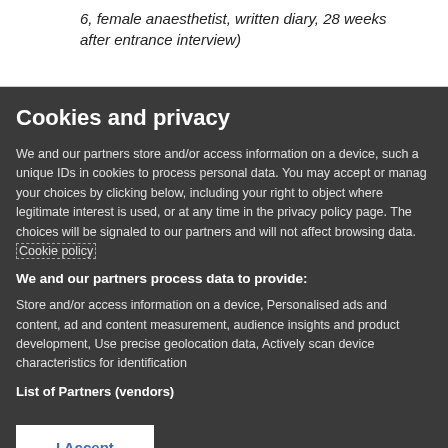6, female anaesthetist, written diary, 28 weeks after entrance interview)
Cookies and privacy
We and our partners store and/or access information on a device, such as unique IDs in cookies to process personal data. You may accept or manage your choices by clicking below, including your right to object where legitimate interest is used, or at any time in the privacy policy page. These choices will be signaled to our partners and will not affect browsing data. Cookie policy
We and our partners process data to provide:
Store and/or access information on a device, Personalised ads and content, ad and content measurement, audience insights and product development, Use precise geolocation data, Actively scan device characteristics for identification
List of Partners (vendors)
I Accept